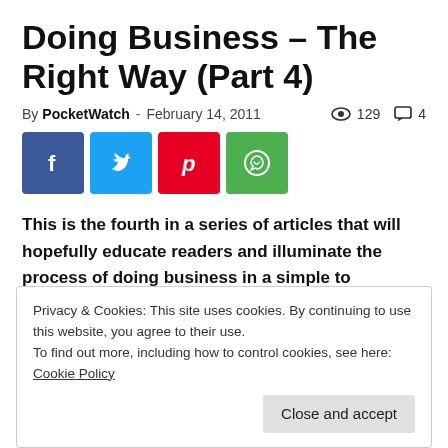Doing Business – The Right Way (Part 4)
By PocketWatch - February 14, 2011   129   4
[Figure (other): Social share buttons: Facebook, Twitter, Pinterest, WhatsApp]
This is the fourth in a series of articles that will hopefully educate readers and illuminate the process of doing business in a simple to understand, nuts-and-bolts way.
In Part 1 of this series, we discussed motivation, what our
Privacy & Cookies: This site uses cookies. By continuing to use this website, you agree to their use.
To find out more, including how to control cookies, see here: Cookie Policy
Close and accept